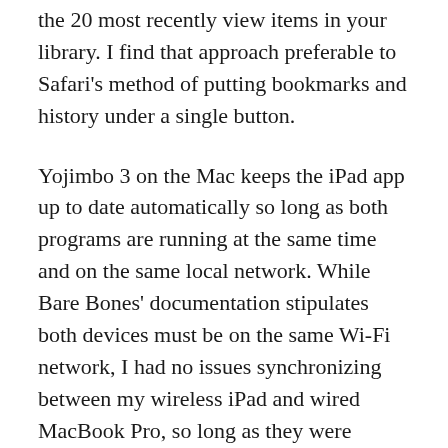the 20 most recently view items in your library. I find that approach preferable to Safari's method of putting bookmarks and history under a single button.
Yojimbo 3 on the Mac keeps the iPad app up to date automatically so long as both programs are running at the same time and on the same local network. While Bare Bones' documentation stipulates both devices must be on the same Wi-Fi network, I had no issues synchronizing between my wireless iPad and wired MacBook Pro, so long as they were served by the same router.
With Yojimbo for iPad, synchronization is a one-way street. The Mac version updates the iPad and you can't create or modify library items within Yojimbo for iPad. I asked Bare Bones' CEO Rich Siegel about this.